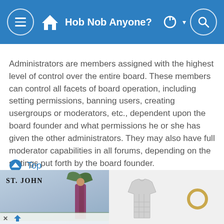Hob Nob Anyone?
Administrators are members assigned with the highest level of control over the entire board. These members can control all facets of board operation, including setting permissions, banning users, creating usergroups or moderators, etc., dependent upon the board founder and what permissions he or she has given the other administrators. They may also have full moderator capabilities in all forums, depending on the settings put forth by the board founder.
Top
What are Moderators?
[Figure (screenshot): Advertisement banner showing ST. JOHN brand with a woman in a purple dress, a grey knit top, and a gold bracelet]